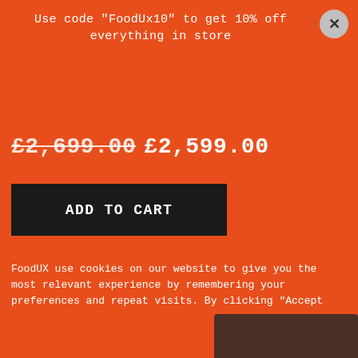Use code "FoodUx10" to get 10% off everything in store
£2,699.00 £2,599.00
ADD TO CART
FoodUX use cookies on our website to give you the most relevant experience by remembering your preferences and repeat visits. By clicking "Accept All", you consent to the use of ALL the cookies. However, you may visit "Cookie Settings" to provide a controlled consent.
Cookie Settings
Accept All